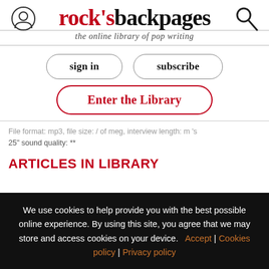rock's backpages — the online library of pop writing
sign in | subscribe | Enter the Library
File format: mp3, file size: / of meg, interview length: m 's 25" sound quality: **
ARTICLES IN LIBRARY
We use cookies to help provide you with the best possible online experience. By using this site, you agree that we may store and access cookies on your device. Accept | Cookies policy | Privacy policy